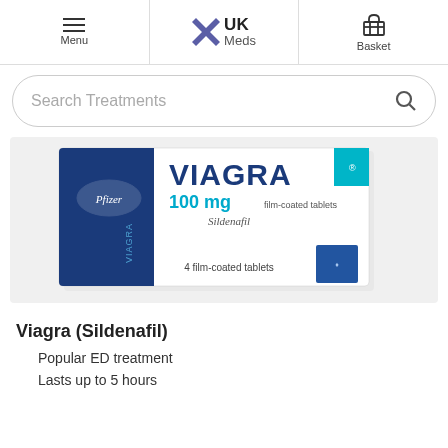Menu | UK Meds | Basket
Search Treatments
[Figure (photo): Viagra 100mg film-coated tablets box by Pfizer, showing blue and white packaging with 4 film-coated tablets, Sildenafil]
Viagra (Sildenafil)
Popular ED treatment
Lasts up to 5 hours